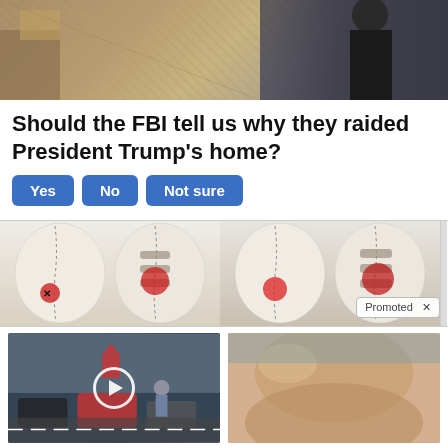[Figure (photo): Partial top image showing an interior scene with decorative elements and a person in dark clothing on the right side]
Should the FBI tell us why they raided President Trump's home?
Yes
No
Not sure
[Figure (illustration): Medical advertisement banner showing spine/back illustrations with highlighted pain areas, labeled Promoted]
[Figure (photo): Street scene photo with cars and pedestrians, with a play button overlay]
[Figure (photo): Photo of person's midsection/stomach area]
Why You Need This Strange Device When The Grid Goes Down
4,717
A Teaspoon On An Empty Stomach Burns Fat Like Crazy!
13,214